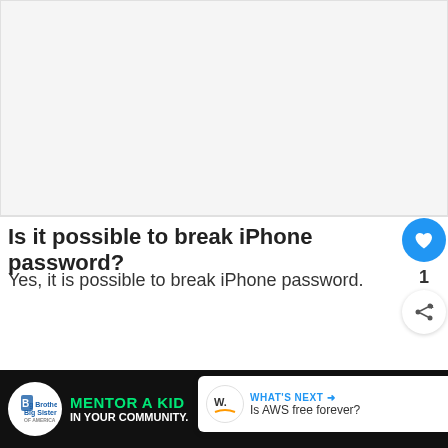[Figure (other): Gray advertisement placeholder area at the top of the page]
Is it possible to break iPhone password?
Yes, it is possible to break iPhone password.
[Figure (infographic): What's Next banner showing AWS free forever link with logo]
[Figure (photo): Big Brothers Big Sisters advertisement banner with green text MENTOR A KID IN YOUR COMMUNITY and Learn How button]